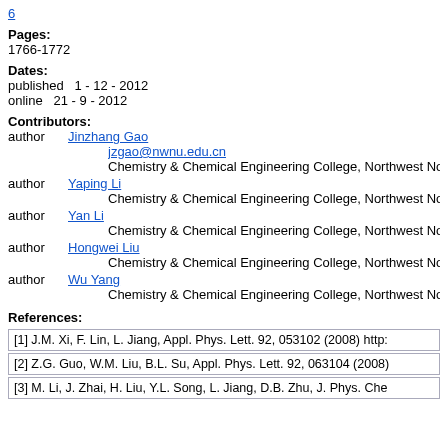6
Pages:
1766-1772
Dates:
published  1 - 12 - 2012
online  21 - 9 - 2012
Contributors:
author  Jinzhang Gao
  jzgao@nwnu.edu.cn
  Chemistry & Chemical Engineering College, Northwest Normal
author  Yaping Li
  Chemistry & Chemical Engineering College, Northwest Normal
author  Yan Li
  Chemistry & Chemical Engineering College, Northwest Normal
author  Hongwei Liu
  Chemistry & Chemical Engineering College, Northwest Normal
author  Wu Yang
  Chemistry & Chemical Engineering College, Northwest Normal
References:
[1] J.M. Xi, F. Lin, L. Jiang, Appl. Phys. Lett. 92, 053102 (2008) http:
[2] Z.G. Guo, W.M. Liu, B.L. Su, Appl. Phys. Lett. 92, 063104 (2008)
[3] M. Li, J. Zhai, H. Liu, Y.L. Song, L. Jiang, D.B. Zhu, J. Phys. Che